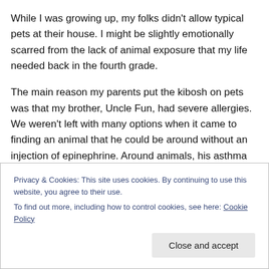While I was growing up, my folks didn't allow typical pets at their house. I might be slightly emotionally scarred from the lack of animal exposure that my life needed back in the fourth grade.
The main reason my parents put the kibosh on pets was that my brother, Uncle Fun, had severe allergies. We weren't left with many options when it came to finding an animal that he could be around without an injection of epinephrine. Around animals, his asthma would kick in to high gear and send him huffing into a ventilator for several
Privacy & Cookies: This site uses cookies. By continuing to use this website, you agree to their use.
To find out more, including how to control cookies, see here: Cookie Policy